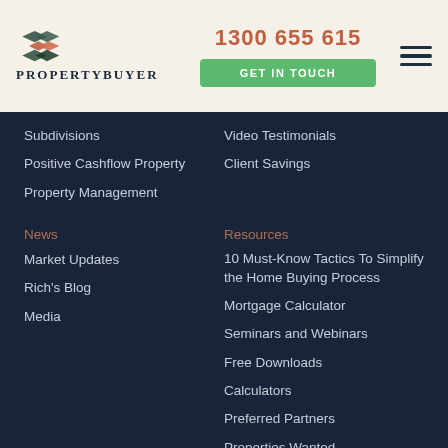[Figure (logo): PropertyBuyer logo with colored chevron icon and PROPERTYBUYER text]
1300 655 615
GET IN TOUCH
Subdivisions
Positive Cashflow Property
Property Management
Video Testimonials
Client Savings
News
Resources
Market Updates
Rich's Blog
Media
10 Must-Know Tactics To Simplify the Home Buying Process
Mortgage Calculator
Seminars and Webinars
Free Downloads
Calculators
Preferred Partners
Properties Wanted
Property Brief
Sydney Property Market
Suburb Profiles